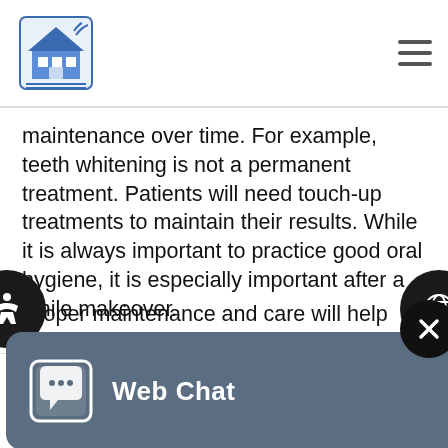[Dental clinic logo] [hamburger menu]
maintenance over time. For example, teeth whitening is not a permanent treatment. Patients will need touch-up treatments to maintain their results. While it is always important to practice good oral hygiene, it is especially important after a smile makeover.
Proper maintenance and care will help prevent future dental issues and previous problems from reappearing. Our team will provide patients [with information on] how to maintain [their results. Tips] for maintaining [a healthy smile] include brushing and flossing multiple times
[Figure (screenshot): Web Chat widget overlay showing chat icon and 'Web Chat' label on dark blue-grey background, with a close (X) button]
[Figure (infographic): Bottom navigation bar with four circular blue buttons: home, phone, calendar, location pin icons. Left edge shows partial accessibility icon circle. Right edge shows partial globe icon circle.]